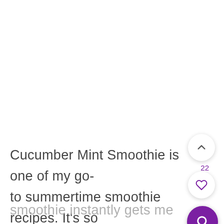Cucumber Mint Smoothie is one of my go-to summertime smoothie recipes. It's so filling and so refreshing. Waking up on a hot summer day and a glass of this green
smoothie instantly gets me energized.